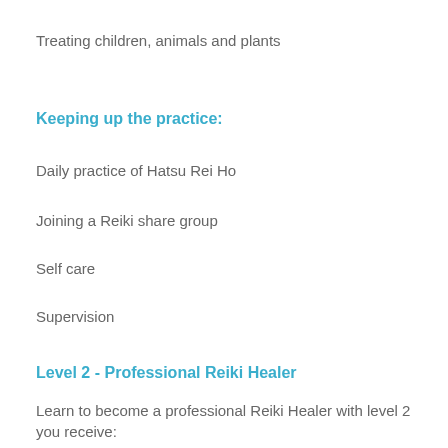Treating children, animals and plants
Keeping up the practice:
Daily practice of Hatsu Rei Ho
Joining a Reiki share group
Self care
Supervision
Level 2 - Professional Reiki Healer
Learn to become a professional Reiki Healer with level 2 you receive:
The Reiki pillars
Three Reiki symbols and mantra's